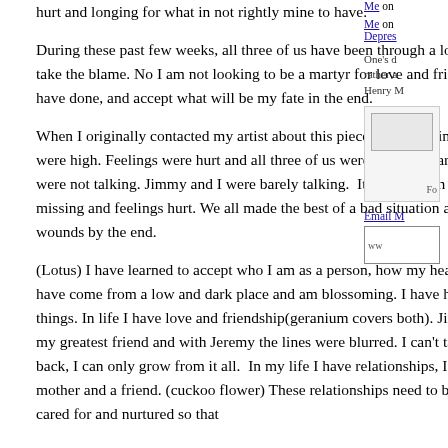hurt and longing for what in not rightly mine to have.
During these past few weeks, all three of us have been through a lot with this and  I can only take the blame. No I am not looking to be a martyr for love and friendship. I know what I have done, and accept what will be my fate in the end.
When I originally contacted my artist about this piece, it was during a time when emotions were high. Feelings were hurt and all three of us were rash and harsh in words. Jeremy and I were not talking. Jimmy and I were barely talking.  It was a rough weekend that left pieces missing and feelings hurt. We all made the best of a bad situation and healed most of our wounds by the end.
(Lotus) I have learned to accept who I am as a person, how my heart and mind were created. I have come from a low and dark place and am blossoming. I have had help with all these things. In life I have love and friendship(geranium covers both). Jimmy is both my love and my greatest friend and with Jeremy the lines were blurred. I can't take any of these things back, I can only grow from it all.  In my life I have relationships, I am a wife, a lover, a mother and a friend. (cuckoo flower) These relationships need to be fertilized so to speak, cared for and nurtured so that
Me on
Me on
Depres
One's d rather a Henry M
Fo
Email M
ww